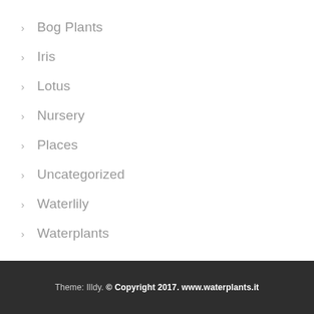Bog Plants
Iris
Lotus
Nursery
Places
Uncategorized
Waterlily
Waterplants
Theme: Illdy. © Copyright 2017. www.waterplants.it